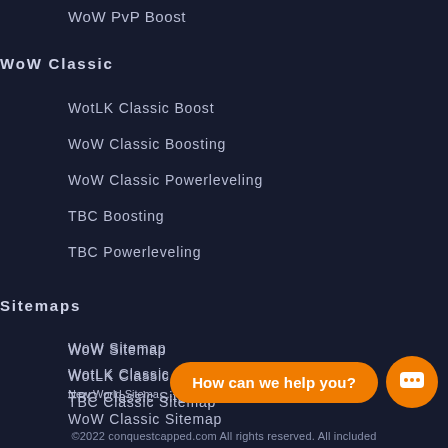WoW PvP Boost
WoW Classic
WotLK Classic Boost
WoW Classic Boosting
WoW Classic Powerleveling
TBC Boosting
TBC Powerleveling
Sitemaps
WoW Sitemap
WotLK Classic Sitemap
TBC Classic Sitemap
WoW Classic Sitemap
New World Sitema…
©2022 conquestcapped.com All rights reserved. All included